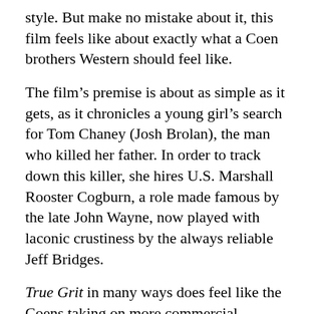style. But make no mistake about it, this film feels like about exactly what a Coen brothers Western should feel like.
The film's premise is about as simple as it gets, as it chronicles a young girl's search for Tom Chaney (Josh Brolan), the man who killed her father. In order to track down this killer, she hires U.S. Marshall Rooster Cogburn, a role made famous by the late John Wayne, now played with laconic crustiness by the always reliable Jeff Bridges.
True Grit in many ways does feel like the Coens taking on more commercial material, with it's all-star cast and fairly linear story. And yet you've got all the hallmarks of what makes a Coen brothers film a pleasure to watch. You've got that great obtuse dialogue, some wonderfully odd supporting characters, and some absolutely breathtaking cinematography from the